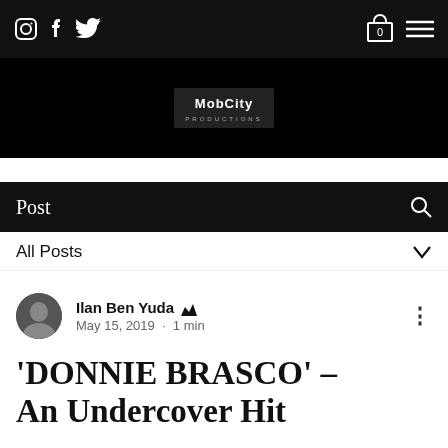Instagram  Facebook  Twitter  [cart: 0]  [menu]
[Figure (logo): MobCity Productions logo in white text on black background]
Post
All Posts
Ilan Ben Yuda  May 15, 2019 · 1 min
'DONNIE BRASCO' - An Undercover Hit